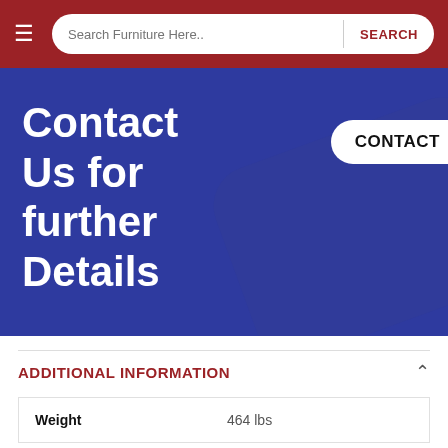Search Furniture Here.. SEARCH
Contact Us for further Details
CONTACT
ADDITIONAL INFORMATION
| Weight |  |
| --- | --- |
| Weight | 464 lbs |